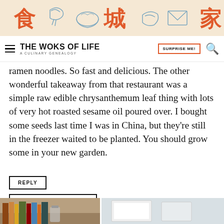[Figure (illustration): Decorative banner with Chinese characters (食, 城, 家) in red/orange and blue illustrated food items (shrimp, noodles, fish, dumpling, envelope, tuna) on a warm beige background.]
THE WOKS OF LIFE | A CULINARY GENEALOGY | SURPRISE ME!
ramen noodles. So fast and delicious. The other wonderful takeaway from that restaurant was a simple raw edible chrysanthemum leaf thing with lots of very hot roasted sesame oil poured over. I bought some seeds last time I was in China, but they're still in the freezer waited to be planted. You should grow some in your new garden.
REPLY
← OLDER COMMENTS
[Figure (photo): Two partial thumbnail photos at the bottom of the page: left shows a bookshelf with books and jars, right shows a bright white interior.]